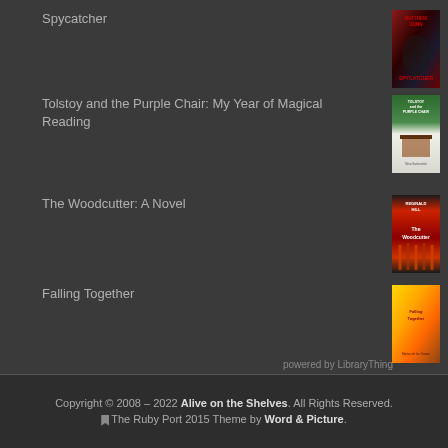Spycatcher
[Figure (illustration): Book cover for Spycatcher]
Tolstoy and the Purple Chair: My Year of Magical Reading
[Figure (illustration): Book cover for Tolstoy and the Purple Chair]
The Woodcutter: A Novel
[Figure (illustration): Book cover for The Woodcutter]
Falling Together
[Figure (illustration): Book cover for Falling Together]
powered by LibraryThing
Copyright © 2008 – 2022 Alive on the Shelves. All Rights Reserved. The Ruby Port 2015 Theme by Word & Picture.